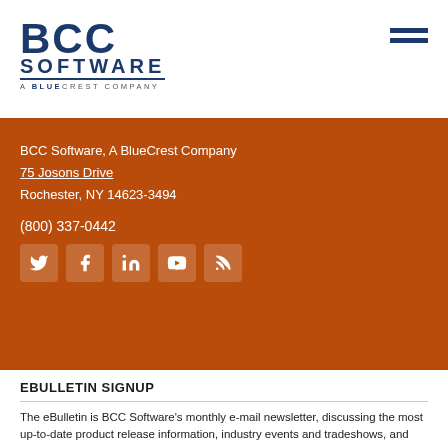[Figure (logo): BCC Software, A BlueCrest Company logo in navy blue]
BCC Software, A BlueCrest Company
75 Josons Drive
Rochester, NY 14623-3494

(800) 337-0442
[Figure (infographic): Social media icons: Twitter, Facebook, LinkedIn, YouTube, RSS]
EBULLETIN SIGNUP
The eBulletin is BCC Software's monthly e-mail newsletter, discussing the most up-to-date product release information, industry events and tradeshows, and other postal industry...